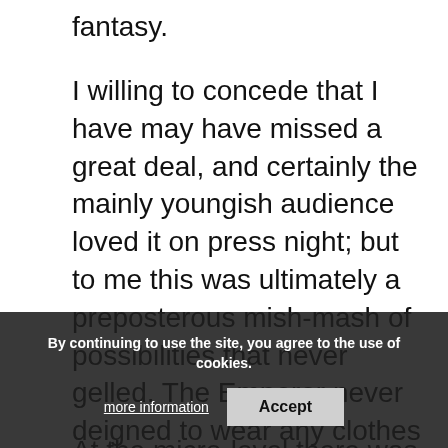fantasy.
I willing to concede that I have may have missed a great deal, and certainly the mainly youngish audience loved it on press night; but to me this was ultimately a preposterous mish-mash of possibilities that never gelled. The Emperor never deigned to wear any clothes for long enough for us to care about any of the characters or gain a sense of thrill or sustained absorption from the situations evoked.
At the micro-level there was a lot of very detailed work by all of the actors that deserves credit. For example, Humphries dug deep emotionally in her portrayal of a sex worker at the end of her emotional tether. This was more than the rest with a haunting performance. she showed coldness and realism in a remarkable scene with Rigby who uses her as a sounding-board for discussing his violent fantasies
By continuing to use the site, you agree to the use of cookies.
more information
Accept